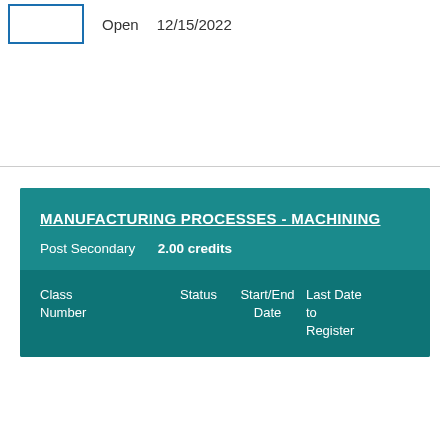| Class Number | Status | Start/End Date | Last Date to Register |
| --- | --- | --- | --- |
|  | Open | 12/15/2022 |  |
MANUFACTURING PROCESSES - MACHINING
Post Secondary   2.00 credits
| Class Number | Status | Start/End Date | Last Date to Register |
| --- | --- | --- | --- |